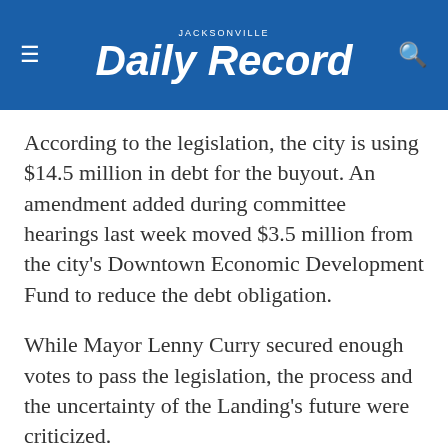JACKSONVILLE Daily Record
According to the legislation, the city is using $14.5 million in debt for the buyout. An amendment added during committee hearings last week moved $3.5 million from the city's Downtown Economic Development Fund to reduce the debt obligation.
While Mayor Lenny Curry secured enough votes to pass the legislation, the process and the uncertainty of the Landing's future were criticized.
Council member Danny Becton offered substitute legislation that would remove money for demolition and impact other items...